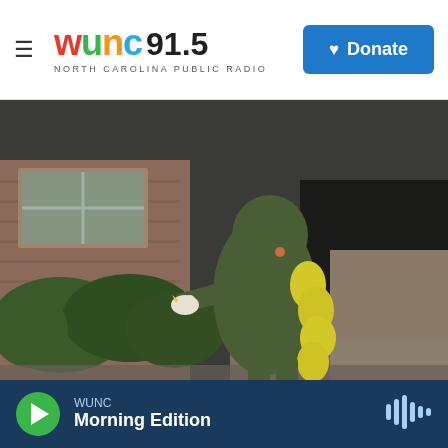WUNC 91.5 North Carolina Public Radio — Donate
[Figure (photo): A child wearing a dinosaur Halloween costume with yellow spines on the back stands in front of a brick house with shrubs, holding a small object, facing away from the camera.]
WUNC — Morning Edition (audio player bar with play button and waveform icon)